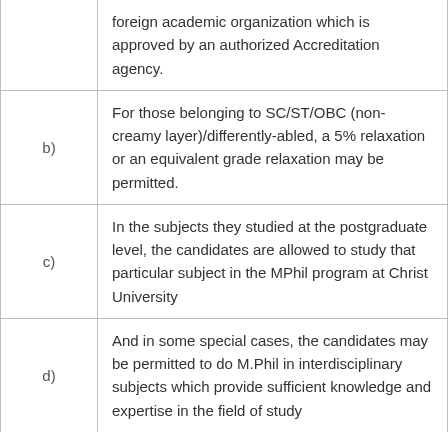|  | foreign academic organization which is approved by an authorized Accreditation agency. |
| b) | For those belonging to SC/ST/OBC (non-creamy layer)/differently-abled, a 5% relaxation or an equivalent grade relaxation may be permitted. |
| c) | In the subjects they studied at the postgraduate level, the candidates are allowed to study that particular subject in the MPhil program at Christ University |
| d) | And in some special cases, the candidates may be permitted to do M.Phil in interdisciplinary subjects which provide sufficient knowledge and expertise in the field of study |